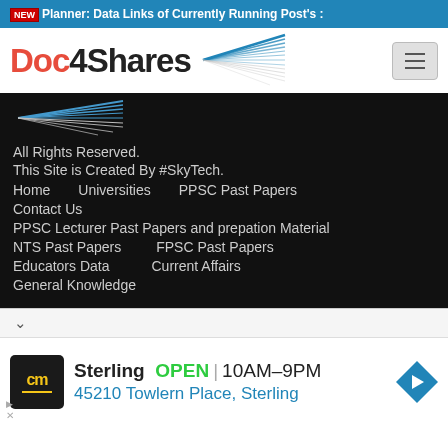NEW Planner: Data Links of Currently Running Post's :
[Figure (logo): Doc4Shares logo with stylized arrow/starburst graphic and hamburger menu button]
[Figure (logo): Small Doc4Shares starburst logo in dark footer section]
All Rights Reserved.
This Site is Created By #SkyTech.
Home
Universities
PPSC Past Papers
Contact Us
PPSC Lecturer Past Papers and prepation Material
NTS Past Papers
FPSC Past Papers
Educators Data
Current Affairs
General Knowledge
[Figure (infographic): Advertisement banner for Sterling showing cm logo, OPEN status, hours 10AM-9PM, address 45210 Towlern Place Sterling, and navigation arrow icon]